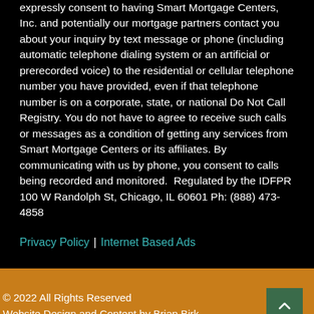expressly consent to having Smart Mortgage Centers, Inc. and potentially our mortgage partners contact you about your inquiry by text message or phone (including automatic telephone dialing system or an artificial or prerecorded voice) to the residential or cellular telephone number you have provided, even if that telephone number is on a corporate, state, or national Do Not Call Registry. You do not have to agree to receive such calls or messages as a condition of getting any services from Smart Mortgage Centers or its affiliates. By communicating with us by phone, you consent to calls being recorded and monitored.  Regulated by the IDFPR 100 W Randolph St, Chicago, IL 60601 Ph: (888) 473-4858
Privacy Policy | Internet Based Ads
© 2022 All Rights Reserved
Website Design and Content by Brian Birk